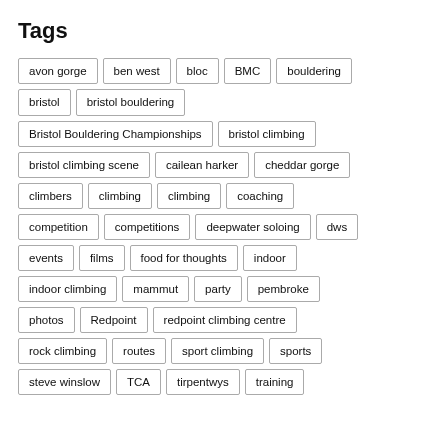Tags
avon gorge
ben west
bloc
BMC
bouldering
bristol
bristol bouldering
Bristol Bouldering Championships
bristol climbing
bristol climbing scene
cailean harker
cheddar gorge
climbers
climbing
climbing
coaching
competition
competitions
deepwater soloing
dws
events
films
food for thoughts
indoor
indoor climbing
mammut
party
pembroke
photos
Redpoint
redpoint climbing centre
rock climbing
routes
sport climbing
sports
steve winslow
TCA
tirpentwys
training